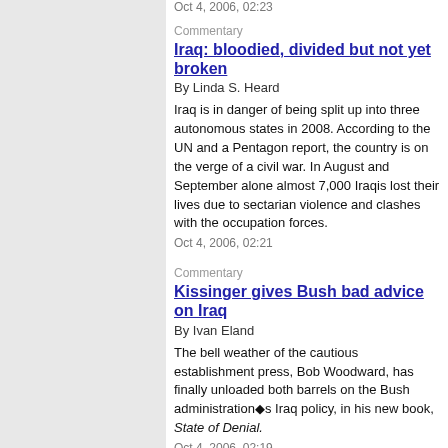Oct 4, 2006, 02:23
Commentary
Iraq: bloodied, divided but not yet broken
By Linda S. Heard
Iraq is in danger of being split up into three autonomous states in 2008. According to the UN and a Pentagon report, the country is on the verge of a civil war. In August and September alone almost 7,000 Iraqis lost their lives due to sectarian violence and clashes with the occupation forces.
Oct 4, 2006, 02:21
Commentary
Kissinger gives Bush bad advice on Iraq
By Ivan Eland
The bell weather of the cautious establishment press, Bob Woodward, has finally unloaded both barrels on the Bush administration’s Iraq policy, in his new book, State of Denial.
Oct 4, 2006, 02:19
Commentary
Is it time to revolt yet?